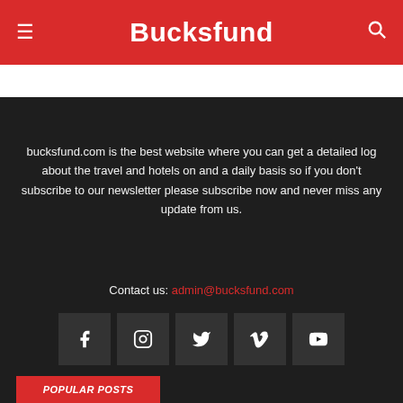Bucksfund
bucksfund.com is the best website where you can get a detailed log about the travel and hotels on and a daily basis so if you don't subscribe to our newsletter please subscribe now and never miss any update from us.
Contact us: admin@bucksfund.com
[Figure (infographic): Social media icon buttons: Facebook, Instagram, Twitter, Vimeo, YouTube]
POPULAR POSTS